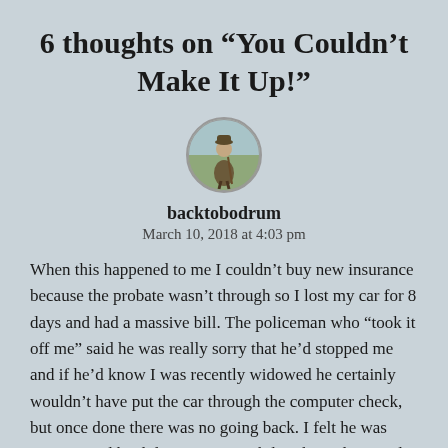6 thoughts on “You Couldn’t Make It Up!”
[Figure (photo): Circular avatar image of a person standing outdoors, dressed in old-fashioned clothing with a walking stick]
backtobodrum
March 10, 2018 at 4:03 pm
When this happened to me I couldn’t buy new insurance because the probate wasn’t through so I lost my car for 8 days and had a massive bill. The policeman who “took it off me” said he was really sorry that he’d stopped me and if he’d know I was recently widowed he certainly wouldn’t have put the car through the computer check, but once done there was no going back. I felt he was genuine and he did give me tea while Jake and I sorted out a lift home.